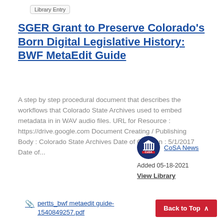Library Entry
SGER Grant to Preserve Colorado's Born Digital Legislative History: BWF MetaEdit Guide
A step by step procedural document that describes the workflows that Colorado State Archives used to embed metadata in in WAV audio files. URL for Resource : https://drive.google.com Document Creating / Publishing Body : Colorado State Archives Date of Creation : 5/1/2017 Date of...
[Figure (logo): CoSA circular logo with dark blue background and white building/columns icon, red 'CoSA' text on lower half]
CoSA News
Added 05-18-2021
View Library
pertts_bwf metaedit guide-1540849257.pdf